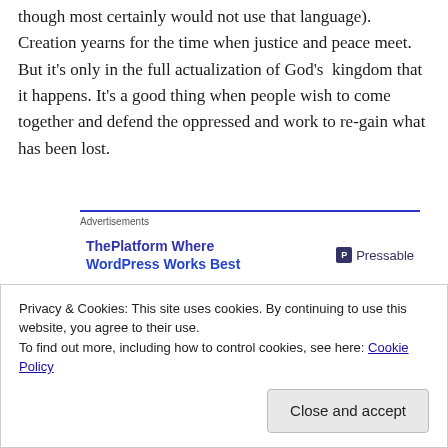though most certainly would not use that language). Creation yearns for the time when justice and peace meet. But it's only in the full actualization of God's kingdom that it happens. It's a good thing when people wish to come together and defend the oppressed and work to re-gain what has been lost.
[Figure (other): Advertisement banner: ThePlatform Where WordPress Works Best — Pressable]
As Kevin notes, there are scores of people who still yearn to participate in this work of justice and peace. And as he
Privacy & Cookies: This site uses cookies. By continuing to use this website, you agree to their use.
To find out more, including how to control cookies, see here: Cookie Policy
Close and accept